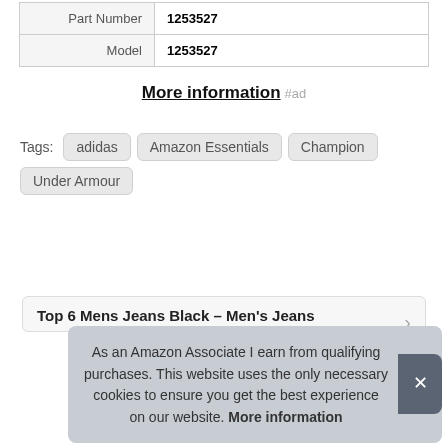| Part Number | 1253527 |
| Model | 1253527 |
More information #ad
Tags: adidas Amazon Essentials Champion Under Armour
Top 6 Mens Jeans Black – Men's Jeans
As an Amazon Associate I earn from qualifying purchases. This website uses the only necessary cookies to ensure you get the best experience on our website. More information